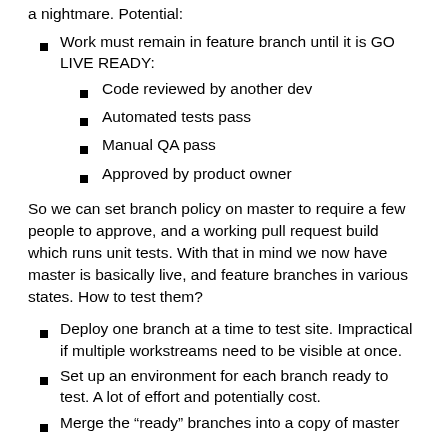a nightmare. Potential:
Work must remain in feature branch until it is GO LIVE READY:
Code reviewed by another dev
Automated tests pass
Manual QA pass
Approved by product owner
So we can set branch policy on master to require a few people to approve, and a working pull request build which runs unit tests. With that in mind we now have master is basically live, and feature branches in various states. How to test them?
Deploy one branch at a time to test site. Impractical if multiple workstreams need to be visible at once.
Set up an environment for each branch ready to test. A lot of effort and potentially cost.
Merge the “ready” branches into a copy of master